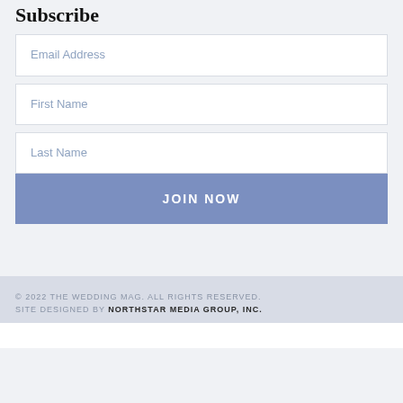Subscribe
Email Address
First Name
Last Name
JOIN NOW
© 2022 THE WEDDING MAG. ALL RIGHTS RESERVED. SITE DESIGNED BY NORTHSTAR MEDIA GROUP, INC.